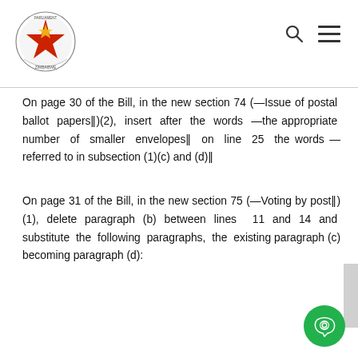Parliament of Zimbabwe – logo and navigation
On page 30 of the Bill, in the new section 74 (—Issue of postal ballot papers‖)(2), insert after the words —the appropriate number of smaller envelopes‖ on line 25 the words —referred to in subsection (1)(c) and (d)‖
On page 31 of the Bill, in the new section 75 (—Voting by post‖)(1), delete paragraph (b) between lines 11 and 14 and substitute the following paragraphs, the existing paragraph (c) becoming paragraph (d):